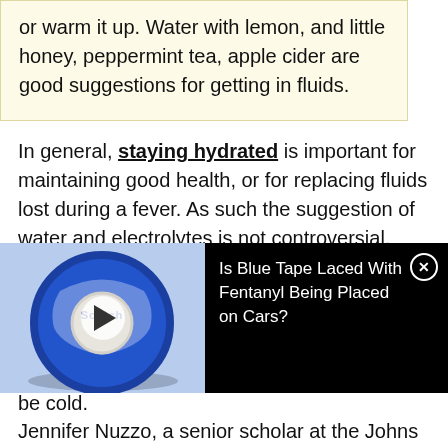or warm it up. Water with lemon, and little honey, peppermint tea, apple cider are good suggestions for getting in fluids.
In general, staying hydrated is important for maintaining good health, or for replacing fluids lost during a fever. As such the suggestion of water and electrolytes is not controversial. Hydration and electrolytes, as well, are indicated
[Figure (photo): Video overlay showing a roll of blue Scotch masking tape on the left side, and on the right side a black background with white text reading 'Is Blue Tape Laced With Fentanyl Being Placed on Cars?' with a close button in the top right corner.]
be cold.
Jennifer Nuzzo, a senior scholar at the Johns